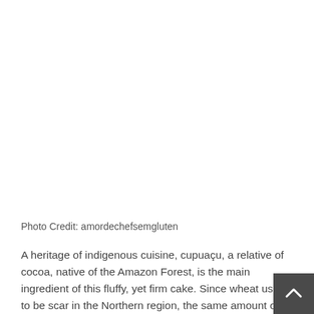Photo Credit: amordechefsemgluten
A heritage of indigenous cuisine, cupuaçu, a relative of cocoa, native of the Amazon Forest, is the main ingredient of this fluffy, yet firm cake. Since wheat used to be scar in the Northern region, the same amount of fruit pulp a